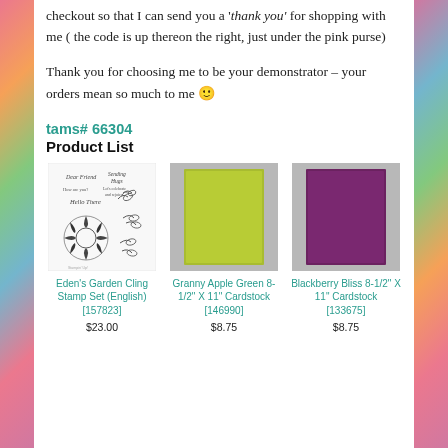checkout so that I can send you a 'thank you' for shopping with me ( the code is up thereon the right, just under the pink purse)
Thank you for choosing me to be your demonstrator – your orders mean so much to me 🙂
tams# 66304
Product List
[Figure (illustration): Eden's Garden Cling Stamp Set (English) showing botanical stamp designs with text phrases]
Eden's Garden Cling Stamp Set (English) [157823] $23.00
[Figure (photo): Granny Apple Green 8-1/2" X 11" Cardstock sheet on gray background]
Granny Apple Green 8-1/2" X 11" Cardstock [146990] $8.75
[Figure (photo): Blackberry Bliss 8-1/2" X 11" Cardstock sheet on gray background]
Blackberry Bliss 8-1/2" X 11" Cardstock [133675] $8.75